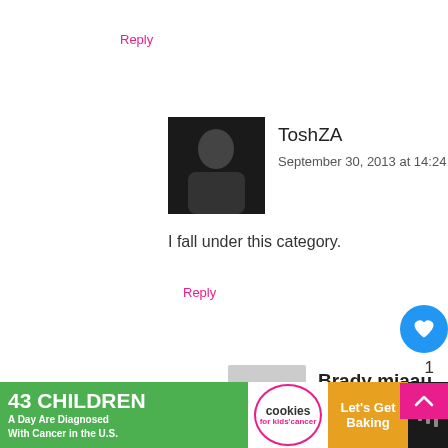Reply
[Figure (photo): Dark avatar photo of ToshZA commenter]
ToshZA
September 30, 2013 at 14:24
I fall under this category.
Reply
[Figure (illustration): Gray silhouette avatar placeholder for Brady miaau]
Brady miaau
September 30, 2013 at 15:17
I fail under this category
Reply
[Figure (infographic): Ad banner: 43 Children A Day Are Diagnosed With Cancer in the U.S. / cookies for kids cancer / Let's Get Baking]